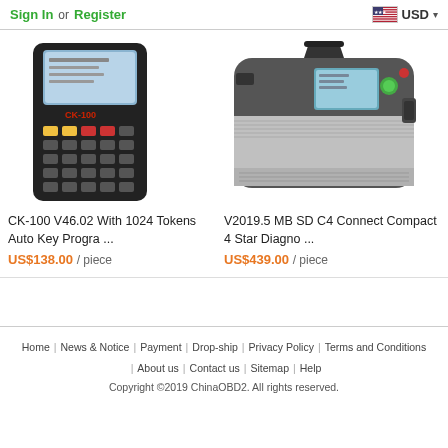Sign In or Register | USD
[Figure (photo): CK-100 V46.02 auto key programmer handheld device with keypad and LCD screen]
CK-100 V46.02 With 1024 Tokens Auto Key Progra ...
US$138.00 / piece
[Figure (photo): V2019.5 MB SD C4 Connect Compact 4 Star diagnostic device, grey metal box with screen]
V2019.5 MB SD C4 Connect Compact 4 Star Diagno ...
US$439.00 / piece
Home | News & Notice | Payment | Drop-ship | Privacy Policy | Terms and Conditions | About us | Contact us | Sitemap | Help
Copyright ©2019 ChinaOBD2. All rights reserved.